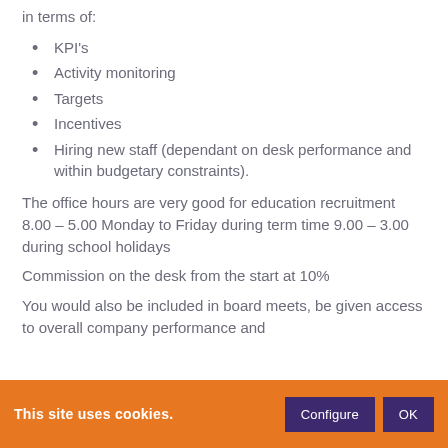in terms of:
KPI's
Activity monitoring
Targets
Incentives
Hiring new staff (dependant on desk performance and within budgetary constraints).
The office hours are very good for education recruitment 8.00 – 5.00 Monday to Friday during term time 9.00 – 3.00 during school holidays
Commission on the desk from the start at 10%
You would also be included in board meets, be given access to overall company performance and
This site uses cookies.